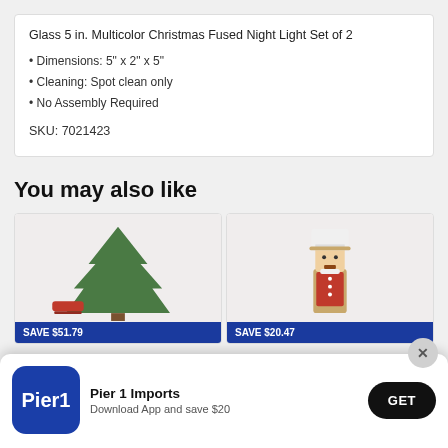Glass 5 in. Multicolor Christmas Fused Night Light Set of 2
Dimensions: 5" x 2" x 5"
Cleaning: Spot clean only
No Assembly Required
SKU: 7021423
You may also like
[Figure (photo): Christmas tree product photo with red sled in background, on light pink/beige background]
[Figure (photo): Nutcracker chef figurine with white chef hat on light pink/beige background]
SAVE $51.79
SAVE $20.47
Pier 1 Imports
Download App and save $20
GET